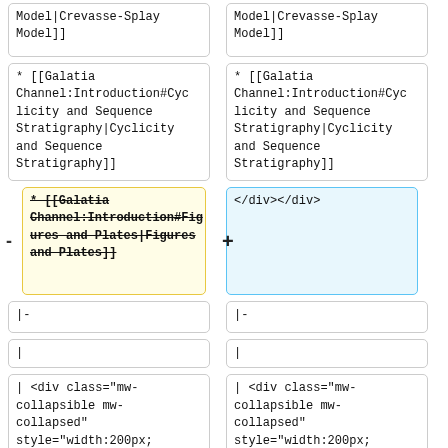Model|Crevasse-Splay Model]]
Model|Crevasse-Splay Model]]
* [[Galatia Channel:Introduction#Cyclicity and Sequence Stratigraphy|Cyclicity and Sequence Stratigraphy]]
* [[Galatia Channel:Introduction#Cyclicity and Sequence Stratigraphy|Cyclicity and Sequence Stratigraphy]]
* [[Galatia Channel:Introduction#Figures and Plates|Figures and Plates]]</div></div>
</div></div>
|-
|-
|
|
| <div class="mw-collapsible mw-collapsed" style="width:200px;
| <div class="mw-collapsible mw-collapsed" style="width:200px;